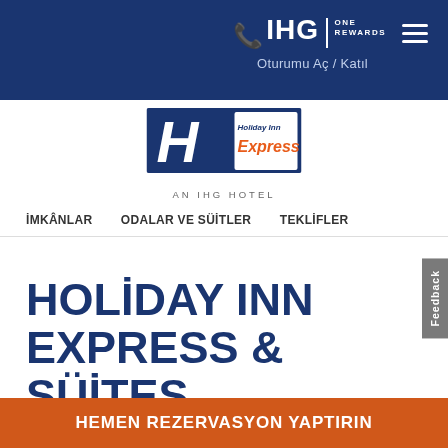[Figure (logo): IHG One Rewards logo with phone icon and hamburger menu in navy top bar]
[Figure (logo): Holiday Inn Express - An IHG Hotel logo]
Oturumu Aç / Katıl
İMKÂNLAR   ODALAR VE SÜİTLER   TEKLİFLER
HOLİDAY INN EXPRESS & SÜİTES WOODBRİDGE
Feedback
HEMEN REZERVASYON YAPTIRIN